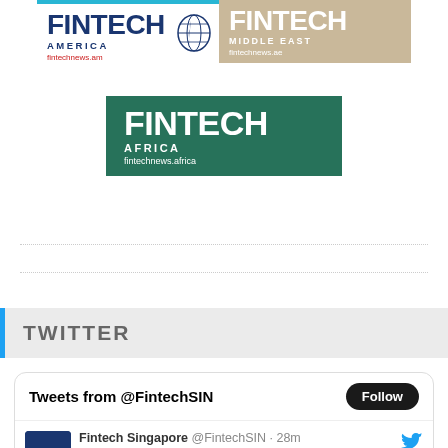[Figure (logo): Fintech America logo - white background with blue border top, dark navy FINTECH text, AMERICA subtitle, fintechnews.am URL, globe icon]
[Figure (logo): Fintech Middle East logo - tan/beige background, white FINTECH text, MIDDLE EAST subtitle, fintechnews.ae URL]
[Figure (logo): Fintech Africa logo - dark green background, white FINTECH text, AFRICA subtitle, fintechnews.africa URL]
TWITTER
Tweets from @FintechSIN
Fintech Singapore @FintechSIN · 28m
Refinitiv and Napier bring together players from the payments, crypto and VASP community to